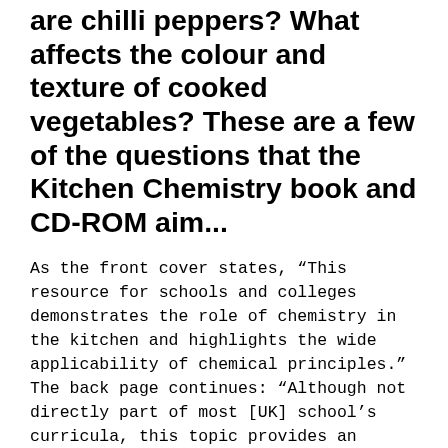are chilli peppers? What affects the colour and texture of cooked vegetables? These are a few of the questions that the Kitchen Chemistry book and CD-ROM aim...
As the front cover states, “This resource for schools and colleges demonstrates the role of chemistry in the kitchen and highlights the wide applicability of chemical principles.” The back page continues: “Although not directly part of most [UK] school’s curricula, this topic provides an exciting context for some familiar chemistry and a way to engage students with the topic.” The book consists of class practicals, demonstrations, comprehension exercises and paper-based activities. The activities are presented as teachers’ notes and student worksheets.
If selected carefully, food chemistry experiments can be conducted by students from primary to pre-university level,